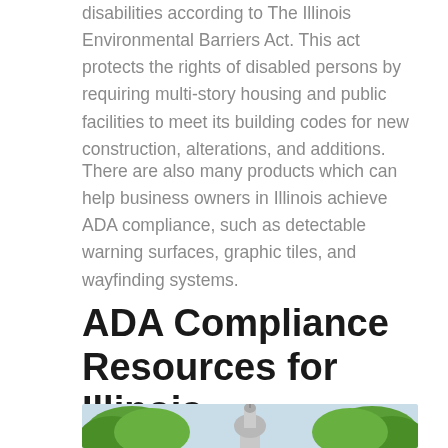disabilities according to The Illinois Environmental Barriers Act. This act protects the rights of disabled persons by requiring multi-story housing and public facilities to meet its building codes for new construction, alterations, and additions.
There are also many products which can help business owners in Illinois achieve ADA compliance, such as detectable warning surfaces, graphic tiles, and wayfinding systems.
ADA Compliance Resources for Illinois Businesses
[Figure (photo): Photo of the Illinois State Capitol building dome visible above green trees against a blue sky]